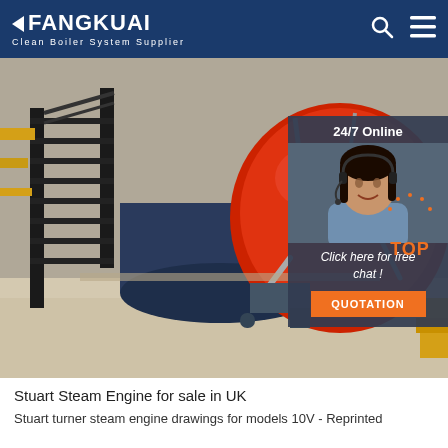FANGKUAI - Clean Boiler System Supplier
[Figure (photo): Industrial boiler facility interior showing a large red spherical boiler with pipes, black metal staircase, and yellow piping. An overlay chat box on the right side shows '24/7 Online', a female customer service representative with headset, 'Click here for free chat !' text, an orange QUOTATION button, and a TOP navigation button at bottom right.]
Stuart Steam Engine for sale in UK
Stuart turner steam engine drawings for models 10V - Reprinted